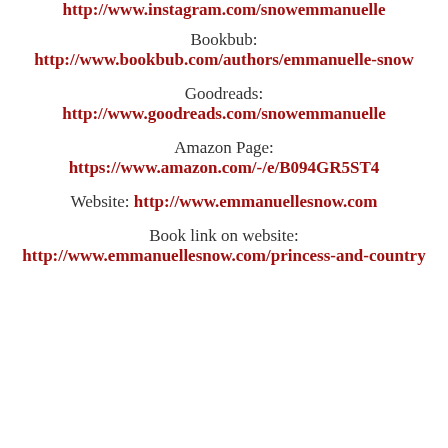http://www.instagram.com/snowemmanuelle
Bookbub:
http://www.bookbub.com/authors/emmanuelle-snow
Goodreads:
http://www.goodreads.com/snowemmanuelle
Amazon Page:
https://www.amazon.com/-/e/B094GR5ST4
Website: http://www.emmanuellesnow.com
Book link on website:
http://www.emmanuellesnow.com/princess-and-country